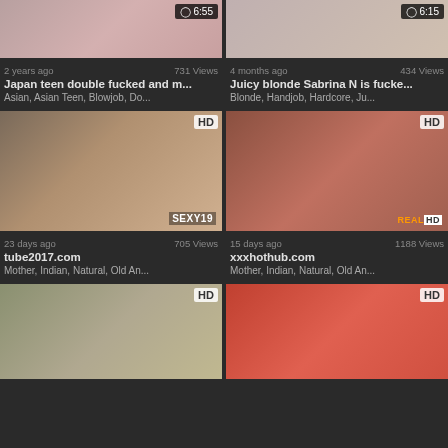[Figure (screenshot): Video thumbnail top-left with timer badge 6:55]
[Figure (screenshot): Video thumbnail top-right with timer badge 6:15]
2 years ago   731 Views
4 months ago   434 Views
Japan teen double fucked and m...
Juicy blonde Sabrina N is fucke...
Asian,  Asian Teen,  Blowjob,  Do...
Blonde,  Handjob,  Hardcore,  Ju...
[Figure (screenshot): Video thumbnail middle-left HD with SEXY19 watermark]
[Figure (screenshot): Video thumbnail middle-right HD with REALHD watermark]
23 days ago   705 Views
15 days ago   1188 Views
tube2017.com
xxxhothub.com
Mother,  Indian,  Natural,  Old An...
Mother,  Indian,  Natural,  Old An...
[Figure (screenshot): Video thumbnail bottom-left HD]
[Figure (screenshot): Video thumbnail bottom-right HD]